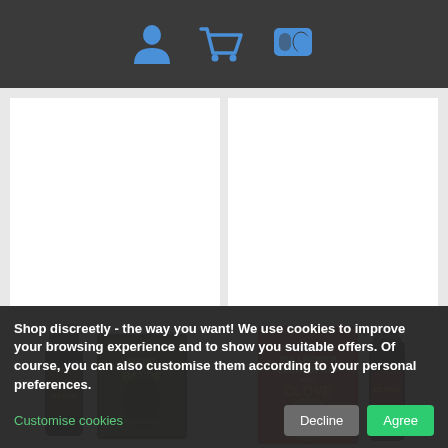Navigation icons: user, cart, payment
[Figure (photo): Bois Bande product: a dark glass bottle with black cap and a box with tropical imagery and woman silhouette, labeled 'BOIS BANDE']
14.90 EUR
🛒 BUY NOW!
[Figure (photo): Bullpower Delay Spray with Clove product: a red box labeled 'THE GERMAN BULLPOWER DELAY SPRAY with CLOVE' with bull imagery, and a small dark spray bottle with red label 'CLOVE']
14.90 EUR
🛒 BUY NOW!
Shop discreetly - the way you want! We use cookies to improve your browsing experience and to show you suitable offers. Of course, you can also customise them according to your personal preferences.
Customise cookies
Decline
Agree